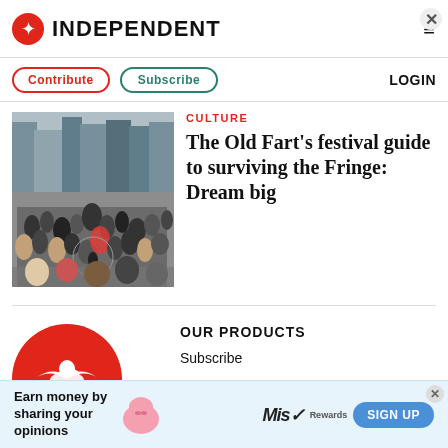INDEPENDENT
Contribute  Subscribe  LOGIN
[Figure (photo): Crowd of people gathered on a city street, Edinburgh, Fringe festival scene]
CULTURE
The Old Fart's festival guide to surviving the Fringe: Dream big
[Figure (logo): The Independent logo - red circle with white eagle/bird icon]
OUR PRODUCTS
Subscribe
Register
Newsletters
GET IN TOUCH
[Figure (infographic): Advertisement banner: Earn money by sharing your opinions - Miss Rewards sign up]